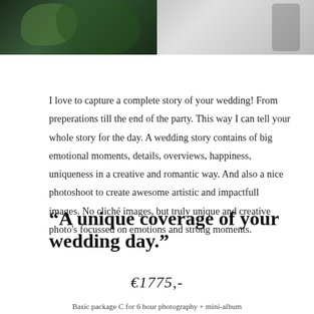[Figure (photo): Two-panel photo strip at top: left panel shows wedding bouquet with green foliage in dark tones, right panel shows couple in black and white]
I love to capture a complete story of your wedding! From preperations till the end of the party. This way I can tell your whole story for the day. A wedding story contains of big emotional moments, details, overviews, happiness, uniqueness in a creative and romantic way. And also a nice photoshoot to create awesome artistic and impactfull images. No cliché images, but truly unique and creative photo's focussed on emotions and strong moments.
“A unique coverage of your wedding day.”
€1775,-
Basic package C for 6 hour photography + mini-album